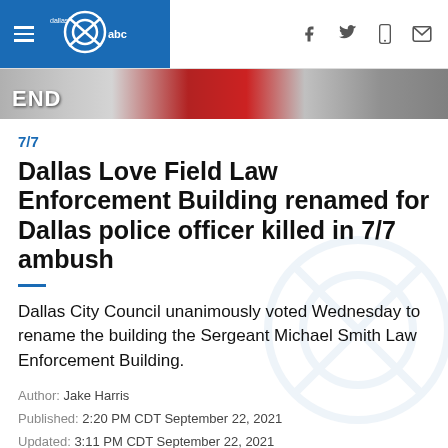[Figure (screenshot): Navigation bar with blue background on left showing hamburger menu and WFAA/ABC logo, and social/share icons on right (Facebook, Twitter, mobile, email)]
[Figure (photo): Image strip showing partial protest or memorial scene with 'END' text visible and red/grey tones]
7/7
Dallas Love Field Law Enforcement Building renamed for Dallas police officer killed in 7/7 ambush
Dallas City Council unanimously voted Wednesday to rename the building the Sergeant Michael Smith Law Enforcement Building.
Author: Jake Harris
Published: 2:20 PM CDT September 22, 2021
Updated: 3:11 PM CDT September 22, 2021
DALLAS — Editor's note: The above video is from July 8,